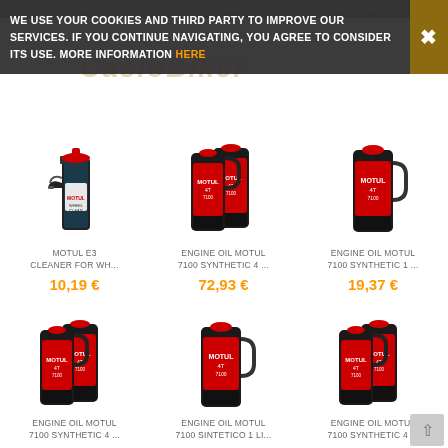SIO041 10W-30 1LI   SICO 4T 10W-30 4LI   MOTUL RBF 660 R
WE USE YOUR COOKIES AND THIRD PARTY TO IMPROVE OUR SERVICES. IF YOU CONTINUE NAVIGATING, YOU AGREE TO CONSIDER ITS USE. MORE INFORMATION HERE
[Figure (photo): Motul E3 Cleaner spray bottle product photo]
MOTUL E3 CLEANER FOR WH...
10,19 €
[Figure (photo): Engine Oil Motul 7100 Synthetic 4T 4L bottles product photo]
ENGINE OIL MOTUL 7100 SYNTHETIC 4 ...
72,93 €
[Figure (photo): Engine Oil Motul 7100 Synthetic 1L bottle product photo]
ENGINE OIL MOTUL 7100 SYNTHETIC 1 ...
19,37 €
[Figure (photo): Engine Oil Motul 7100 Synthetic 4T 4L bottles product photo]
ENGINE OIL MOTUL 7100 SYNTHETIC 4 ...
72,93 €
[Figure (photo): Engine Oil Motul 7100 Sintetico 1L bottle product photo]
ENGINE OIL MOTUL 7100 SINTETICO 1 LI...
19,37 €
[Figure (photo): Engine Oil Motul 7100 Synthetic 4T bottles product photo]
ENGINE OIL MOTUL 7100 SYNTHETIC 4 ...
72,93 €